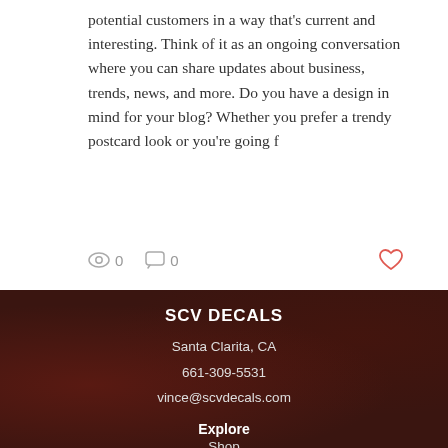potential customers in a way that's current and interesting. Think of it as an ongoing conversation where you can share updates about business, trends, news, and more. Do you have a design in mind for your blog? Whether you prefer a trendy postcard look or you're going f
[Figure (other): Blog post action row with eye/views icon showing 0 views, speech bubble/comments icon showing 0 comments, and a heart/like icon in coral-red on the right]
[Figure (other): Dark footer banner with blurred decal/scroll background. Contains SCV DECALS company name, Santa Clarita CA address, phone 661-309-5531, email vince@scvdecals.com, Explore heading, and Shop link]
SCV DECALS
Santa Clarita, CA
661-309-5531
vince@scvdecals.com
Explore
Shop